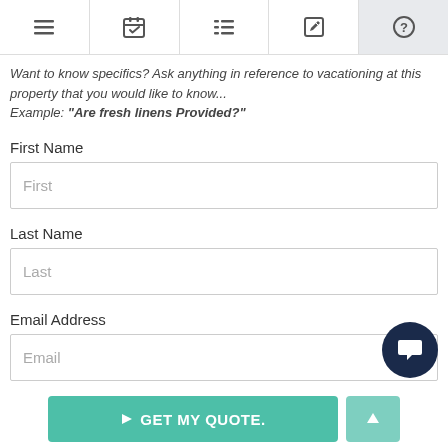[Figure (screenshot): Top navigation bar with icons: hamburger menu, calendar/checklist, list, edit/pencil, and question mark (highlighted in gray)]
Want to know specifics? Ask anything in reference to vacationing at this property that you would like to know... Example: "Are fresh linens Provided?"
First Name
First
Last Name
Last
Email Address
Email
Comments/Questions
> GET MY QUOTE.